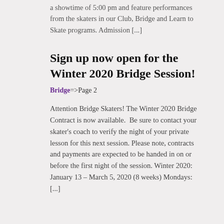a showtime of 5:00 pm and feature performances from the skaters in our Club, Bridge and Learn to Skate programs. Admission [...]
Sign up now open for the Winter 2020 Bridge Session!
Bridge=>Page 2
Attention Bridge Skaters! The Winter 2020 Bridge Contract is now available.  Be sure to contact your skater's coach to verify the night of your private lesson for this next session. Please note, contracts and payments are expected to be handed in on or before the first night of the session. Winter 2020: January 13 – March 5, 2020 (8 weeks) Mondays:  [...]